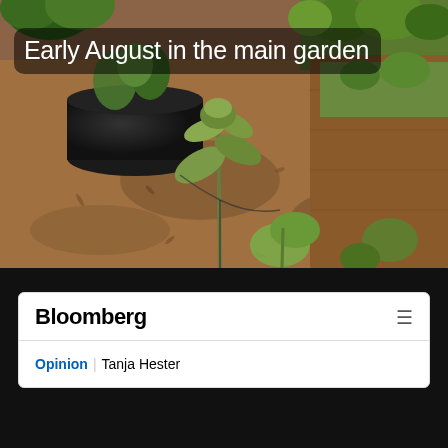[Figure (photo): Garden photo showing raised wooden garden beds with soil/mulch ground cover, leafy green vegetable plants (kale/broccoli), and a black fabric planting pot in the background with additional green plants. Text overlay reads 'Early August in the main garden'.]
Early August in the main garden
[Figure (screenshot): Screenshot of a Bloomberg article page header on a dark/black background. Shows Bloomberg logo with hamburger menu icon, and below it an Opinion section byline reading 'Opinion | Tanja Hester'.]
Opinion | Tanja Hester